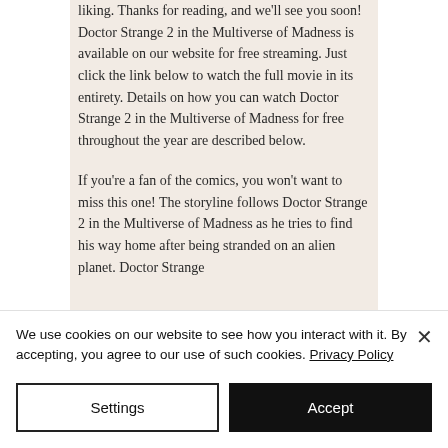liking. Thanks for reading, and we'll see you soon! Doctor Strange 2 in the Multiverse of Madness is available on our website for free streaming. Just click the link below to watch the full movie in its entirety. Details on how you can watch Doctor Strange 2 in the Multiverse of Madness for free throughout the year are described below.

If you're a fan of the comics, you won't want to miss this one! The storyline follows Doctor Strange 2 in the Multiverse of Madness as he tries to find his way home after being stranded on an alien planet. Doctor Strange
We use cookies on our website to see how you interact with it. By accepting, you agree to our use of such cookies. Privacy Policy
Settings
Accept